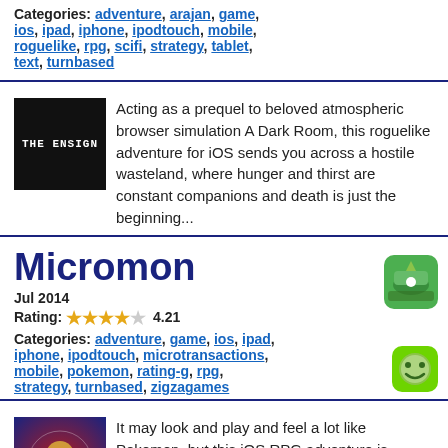Categories: adventure, arajan, game, ios, ipad, iphone, ipodtouch, mobile, roguelike, rpg, scifi, strategy, tablet, text, turnbased
Acting as a prequel to beloved atmospheric browser simulation A Dark Room, this roguelike adventure for iOS sends you across a hostile wasteland, where hunger and thirst are constant companions and death is just the beginning...
Micromon
Jul 2014
Rating: 4.21
Categories: adventure, game, ios, ipad, iphone, ipodtouch, microtransactions, mobile, pokemon, rating-g, rpg, strategy, turnbased, zigzagames
It may look and play and feel a lot like Pokemon, but this iOS RPG adventure is surprisingly engaging on its own despite annoying currency and multiplayer issues. Sent to a digital world to find out why a village was wiped